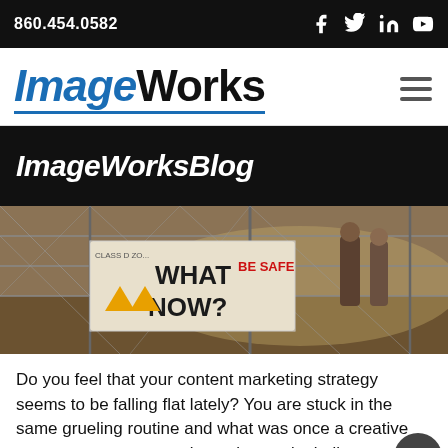860.454.0582
ImageWorks
ImageWorksBlog
[Figure (photo): Construction site scene with chain-link fence; a sign reads 'WHAT NOW? BE SAFE' with warning triangles; two workers visible in dusty background.]
Do you feel that your content marketing strategy seems to be falling flat lately? You are stuck in the same grueling routine and what was once a creative process now seems to be a slow and mindless